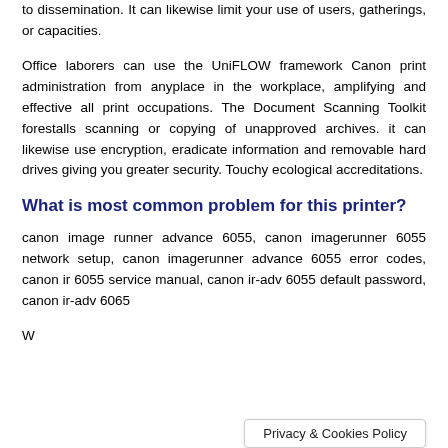to dissemination. It can likewise limit your use of users, gatherings, or capacities.
Office laborers can use the UniFLOW framework Canon print administration from anyplace in the workplace, amplifying and effective all print occupations. The Document Scanning Toolkit forestalls scanning or copying of unapproved archives. it can likewise use encryption, eradicate information and removable hard drives giving you greater security. Touchy ecological accreditations.
What is most common problem for this printer?
canon image runner advance 6055, canon imagerunner 6055 network setup, canon imagerunner advance 6055 error codes, canon ir 6055 service manual, canon ir-adv 6055 default password, canon ir-adv 6065
W...